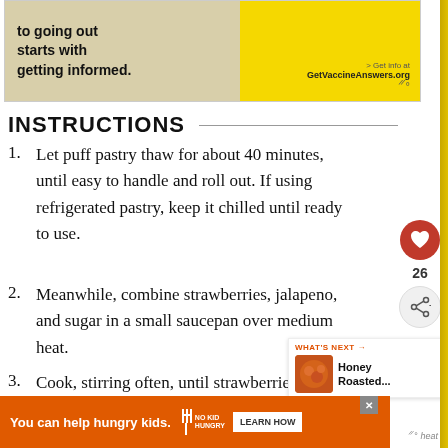[Figure (screenshot): Top advertisement banner: left side with text 'to going out starts with getting informed.' on beige background, right side yellow with URL 'GetVaccineAnswers.org']
INSTRUCTIONS
Let puff pastry thaw for about 40 minutes, until easy to handle and roll out. If using refrigerated pastry, keep it chilled until ready to use.
Meanwhile, combine strawberries, jalapeno, and sugar in a small saucepan over medium heat.
Cook, stirring often, until strawberries have broken down and
[Figure (infographic): Sidebar with heart icon button, count 26, and share button]
[Figure (infographic): What's Next widget showing Honey Roasted... item with food image]
[Figure (screenshot): Bottom advertisement: 'You can help hungry kids.' with No Kid Hungry logo and LEARN HOW button]